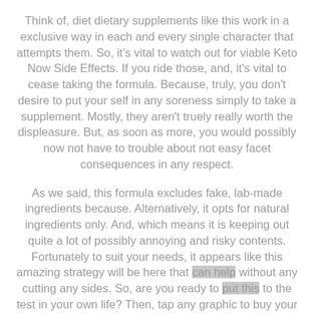Think of, diet dietary supplements like this work in a exclusive way in each and every single character that attempts them. So, it's vital to watch out for viable Keto Now Side Effects. If you ride those, and, it's vital to cease taking the formula. Because, truly, you don't desire to put your self in any soreness simply to take a supplement. Mostly, they aren't truely really worth the displeasure. But, as soon as more, you would possibly now not have to trouble about not easy facet consequences in any respect.
As we said, this formula excludes fake, lab-made ingredients because. Alternatively, it opts for natural ingredients only. And, which means it is keeping out quite a lot of possibly annoying and risky contents. Fortunately to suit your needs, it appears like this amazing strategy will be here that can help without any cutting any sides. So, are you ready to put this to the test in your own life? Then, tap any graphic to buy your bottles now to get a small Keto Now Charge! Eventually, you can get yourself the final results you would